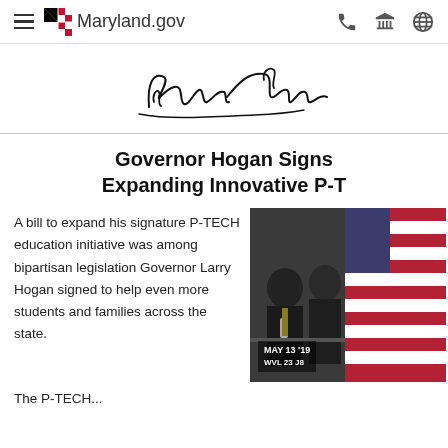Maryland.gov
[Figure (illustration): Cursive signature of Larry Hogan]
Governor Hogan Signs Expanding Innovative P-T
A bill to expand his signature P-TECH education initiative was among bipartisan legislation Governor Larry Hogan signed to help even more students and families across the state.
[Figure (photo): Governor at signing event with American flag in background, dated MAY 13 19]
The P-TECH...